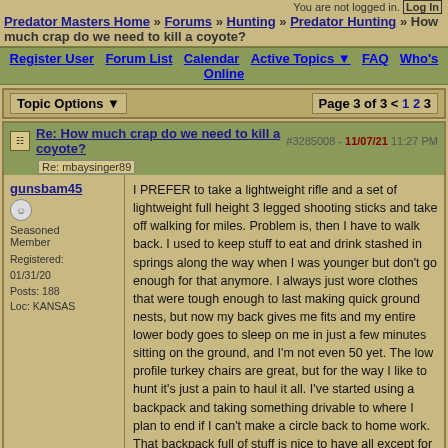You are not logged in. [Log In]
Predator Masters Home » Forums » Hunting » Predator Hunting » How much crap do we need to kill a coyote?
Register User  Forum List  Calendar  Active Topics  FAQ  Who's Online
Topic Options ▼   Page 3 of 3  ≤ 1 2 3
Re: How much crap do we need to kill a coyote?  #3285008 - 11/07/21 11:27 PM  [Re: mbaysinger89]
gunsbam45
Seasoned Member
Registered: 01/31/20
Posts: 188
Loc: KANSAS
I PREFER to take a lightweight rifle and a set of lightweight full height 3 legged shooting sticks and take off walking for miles. Problem is, then I have to walk back. I used to keep stuff to eat and drink stashed in springs along the way when I was younger but don't go enough for that anymore. I always just wore clothes that were tough enough to last making quick ground nests, but now my back gives me fits and my entire lower body goes to sleep on me in just a few minutes sitting on the ground, and I'm not even 50 yet. The low profile turkey chairs are great, but for the way I like to hunt it's just a pain to haul it all. I've started using a backpack and taking something drivable to where I plan to end if I can't make a circle back to home work. That backpack full of stuff is nice to have all except for the part where you have to carry it the whole way.
Top
Re: How much crap do we need to kill a coyote?  #3287757 - 12/12/21 03:42 PM  [Re: Acie 2013]